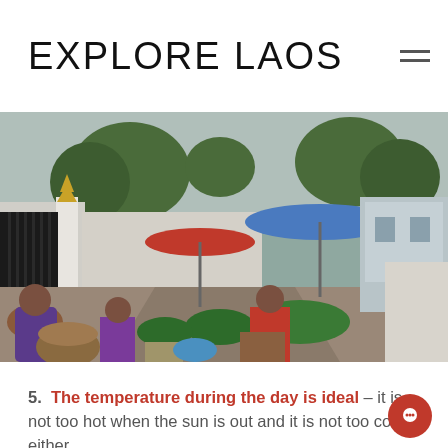EXPLORE LAOS
[Figure (photo): Outdoor market scene in Laos with women vendors selling vegetables along a street, colorful umbrellas (red, blue) providing shade, white temple wall on left, houses visible in background]
5. The temperature during the day is ideal – it is not too hot when the sun is out and it is not too cold either.